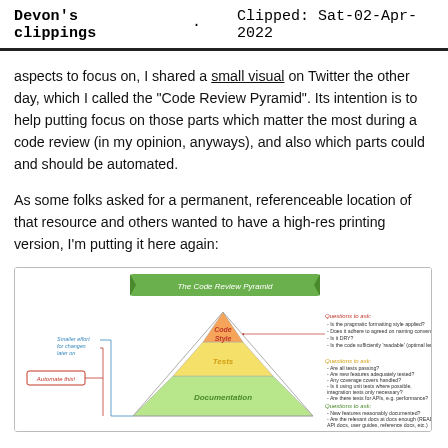Devon's clippings  ·  Clipped: Sat-02-Apr-2022
aspects to focus on, I shared a small visual on Twitter the other day, which I called the "Code Review Pyramid". Its intention is to help putting focus on those parts which matter the most during a code review (in my opinion, anyways), and also which parts could and should be automated.
As some folks asked for a permanent, referenceable location of that resource and others wanted to have a high-res printing version, I'm putting it here again:
[Figure (illustration): The Code Review Pyramid diagram showing a triangle divided into three sections labeled Code Style (top, orange), Tests (middle, yellow), and Documentation (bottom, green), with questions to ask on the right side and annotations about effort and automation on the left.]